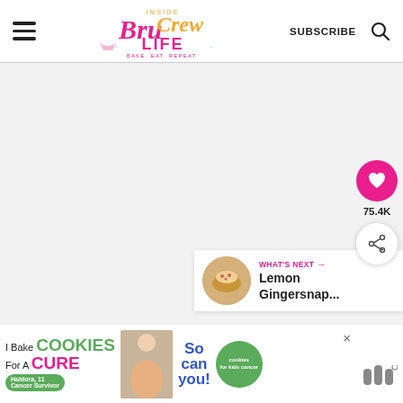Inside BruCrew Life - BAKE. EAT. REPEAT. | SUBSCRIBE
[Figure (screenshot): Large white/light gray content area with floating social buttons (heart icon with 75.4K count, share icon) on the right side]
75.4K
[Figure (infographic): What's Next widget showing a circular thumbnail of Lemon Gingersnap cookies and the text 'WHAT'S NEXT → Lemon Gingersnap...']
[Figure (photo): Advertisement banner: 'I Bake COOKIES For A CURE - Haldora, 11 Cancer Survivor - So can you! - cookies for kids cancer' with green circle logo and close button]